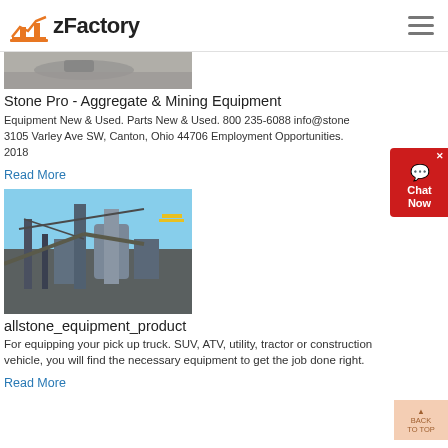zFactory
[Figure (photo): Mining or quarry site top image strip]
Stone Pro - Aggregate & Mining Equipment
Equipment New & Used. Parts New & Used. 800 235-6088 info@stone 3105 Varley Ave SW, Canton, Ohio 44706 Employment Opportunities. 2018
Read More
[Figure (photo): Industrial mining equipment / allstone equipment product image]
allstone_equipment_product
For equipping your pick up truck. SUV, ATV, utility, tractor or construction vehicle, you will find the necessary equipment to get the job done right.
Read More